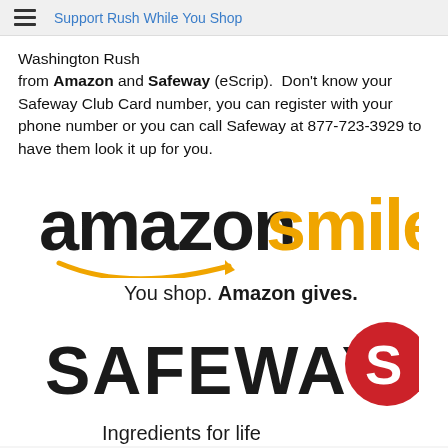Support Rush While You Shop
Washington Rush
from Amazon and Safeway (eScrip).  Don't know your Safeway Club Card number, you can register with your phone number or you can call Safeway at 877-723-3929 to have them look it up for you.
[Figure (logo): Amazon Smile logo with tagline 'You shop. Amazon gives.']
[Figure (logo): Safeway logo with tagline 'Ingredients for life']